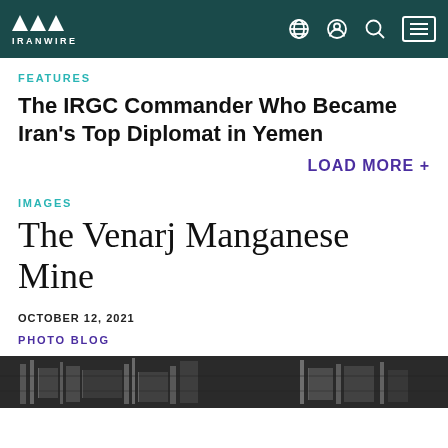IRANWIRE
FEATURES
The IRGC Commander Who Became Iran's Top Diplomat in Yemen
LOAD MORE +
IMAGES
The Venarj Manganese Mine
OCTOBER 12, 2021
PHOTO BLOG
[Figure (photo): Black and white photograph of the Venarj Manganese Mine, showing industrial structures and equipment]